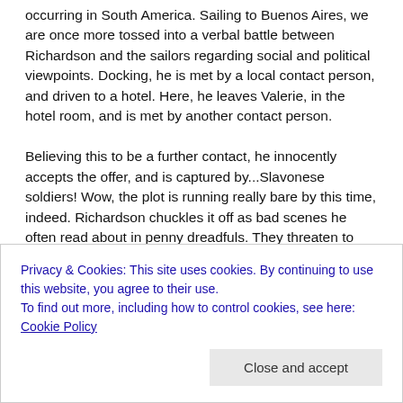occurring in South America. Sailing to Buenos Aires, we are once more tossed into a verbal battle between Richardson and the sailors regarding social and political viewpoints. Docking, he is met by a local contact person, and driven to a hotel. Here, he leaves Valerie, in the hotel room, and is met by another contact person.

Believing this to be a further contact, he innocently accepts the offer, and is captured by...Slavonese soldiers! Wow, the plot is running really bare by this time, indeed. Richardson chuckles it off as bad scenes he often read about in penny dreadfuls. They threaten to hold him hostage until he coughs up the death ray schematics. He refuses. Ah, but they can be very persuasive. He chuckles, and there ensues the usual
Privacy & Cookies: This site uses cookies. By continuing to use this website, you agree to their use.
To find out more, including how to control cookies, see here: Cookie Policy
this one. Time passes, and the Slav representatives and local